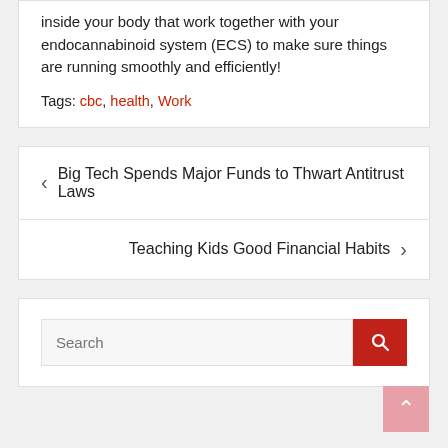inside your body that work together with your endocannabinoid system (ECS) to make sure things are running smoothly and efficiently!
Tags: cbc, health, Work
< Big Tech Spends Major Funds to Thwart Antitrust Laws
Teaching Kids Good Financial Habits >
Search
Recent Posts